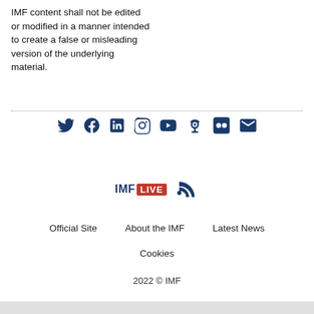IMF content shall not be edited or modified in a manner intended to create a false or misleading version of the underlying material.
[Figure (infographic): Row of 8 social media icons in dark blue: Twitter, Facebook, LinkedIn, Instagram, YouTube, Podcast, Flickr, Email/Newsletter]
[Figure (logo): IMF LIVE logo with red box around LIVE text, and an RSS feed icon in dark blue]
Official Site   About the IMF   Latest News
Cookies
2022 © IMF